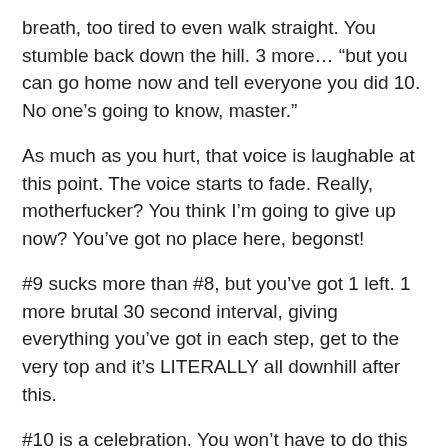breath, too tired to even walk straight. You stumble back down the hill. 3 more… “but you can go home now and tell everyone you did 10. No one’s going to know, master.”
As much as you hurt, that voice is laughable at this point. The voice starts to fade. Really, motherfucker? You think I’m going to give up now? You’ve got no place here, begonst!
#9 sucks more than #8, but you’ve got 1 left. 1 more brutal 30 second interval, giving everything you’ve got in each step, get to the very top and it’s LITERALLY all downhill after this.
#10 is a celebration. You won’t have to do this to your body for another 7-10 days, push… you’ve got more. You haven’t fallen yet. Bigger strides, faster arm swing, quick